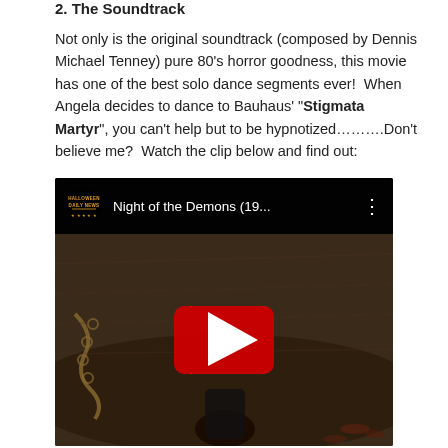2. The Soundtrack
Not only is the original soundtrack (composed by Dennis Michael Tenney) pure 80's horror goodness, this movie has one of the best solo dance segments ever!  When Angela decides to dance to Bauhaus' "Stigmata Martyr", you can't help but to be hypnotized……….Don't believe me?  Watch the clip below and find out:
[Figure (screenshot): Embedded YouTube video thumbnail showing Night of the Demons (19... with a play button overlay. The thumbnail shows a dark scene from the film. The video header bar shows the Halloween Daily News logo and video title.]